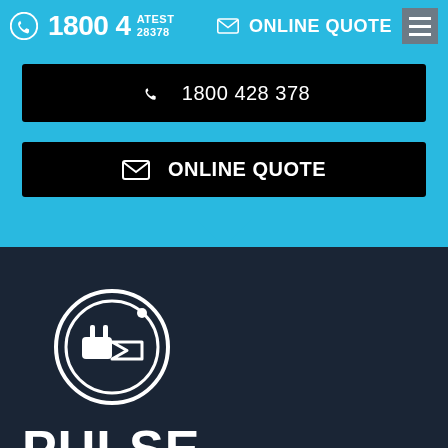1800 4 ATEST 28378  ONLINE QUOTE
1800 428 378
ONLINE QUOTE
[Figure (logo): Pulse Test and Tag logo — circular icon with plug/tag symbol inside double rings, with text PULSE TEST AND TAG below]
We guarantee you'll be impressed with the professional team of reliable and friendly technicians.